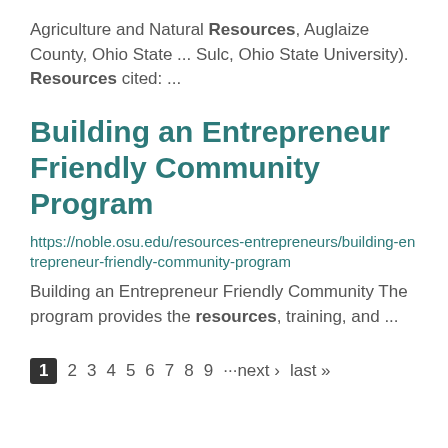Agriculture and Natural Resources, Auglaize County, Ohio State ... Sulc, Ohio State University). Resources cited: ...
Building an Entrepreneur Friendly Community Program
https://noble.osu.edu/resources-entrepreneurs/building-entrepreneur-friendly-community-program
Building an Entrepreneur Friendly Community The program provides the resources, training, and ...
1 2 3 4 5 6 7 8 9 ···next › last »